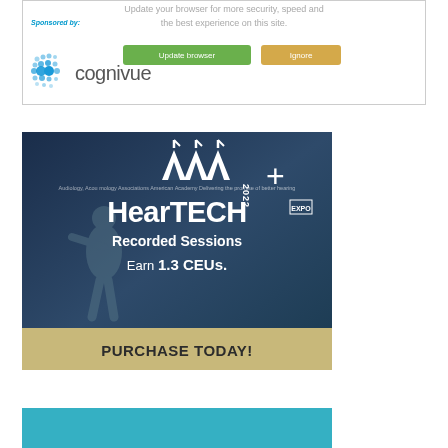[Figure (screenshot): Browser update notification banner with 'Update browser' and 'Ignore' buttons, sponsored by Cognivue logo with blue dot pattern icon]
[Figure (photo): AAA 2022 + HearTECH Expo advertisement on dark blue background showing a speaker presenting on stage. Text reads: AAA 2022 + HearTECH EXPO Recorded Sessions Earn 1.3 CEUs. PURCHASE TODAY!]
[Figure (photo): Partial view of a teal/cyan colored photo at the bottom of the page, appears to show a person]